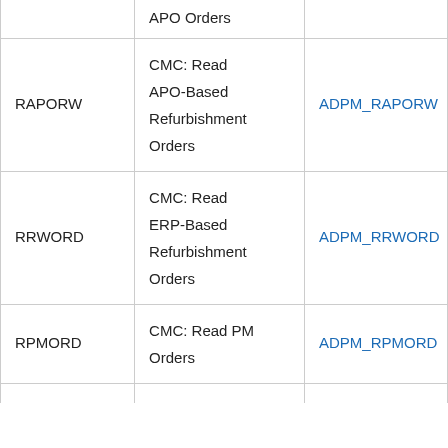|  | APO Orders |  |
| RAPORW | CMC: Read APO-Based Refurbishment Orders | ADPM_RAPORW |
| RRWORD | CMC: Read ERP-Based Refurbishment Orders | ADPM_RRWORD |
| RPMORD | CMC: Read PM Orders | ADPM_RPMORD |
|  |  |  |